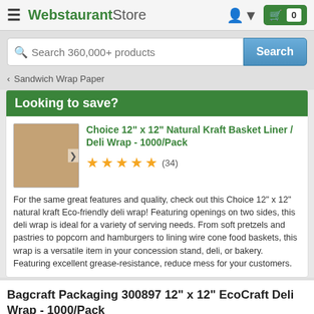WebstaurantStore
Search 360,000+ products
< Sandwich Wrap Paper
Looking to save?
Choice 12" x 12" Natural Kraft Basket Liner / Deli Wrap - 1000/Pack
(34)
For the same great features and quality, check out this Choice 12" x 12" natural kraft Eco-friendly deli wrap! Featuring openings on two sides, this deli wrap is ideal for a variety of serving needs. From soft pretzels and pastries to popcorn and hamburgers to lining wire cone food baskets, this wrap is a versatile item in your concession stand, deli, or bakery. Featuring excellent grease-resistance, reduce mess for your customers.
Bagcraft Packaging 300897 12" x 12" EcoCraft Deli Wrap - 1000/Pack
Item #: 999300897NAT   MER #: 300897